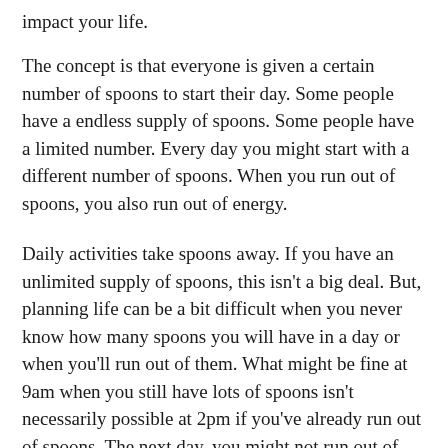impact your life.
The concept is that everyone is given a certain number of spoons to start their day. Some people have a endless supply of spoons. Some people have a limited number. Every day you might start with a different number of spoons. When you run out of spoons, you also run out of energy.
Daily activities take spoons away. If you have an unlimited supply of spoons, this isn’t a big deal. But, planning life can be a bit difficult when you never know how many spoons you will have in a day or when you’ll run out of them. What might be fine at 9am when you still have lots of spoons isn’t necessarily possible at 2pm if you’ve already run out of spoons. The next day, you might not run out of spoons until